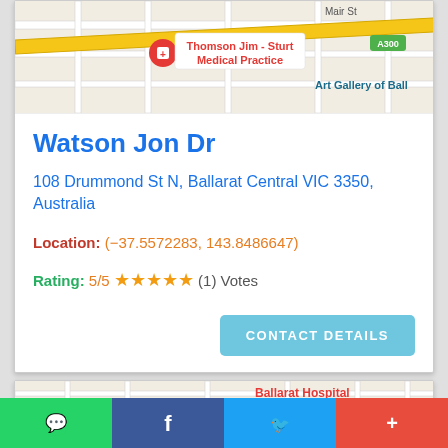[Figure (map): Google Maps screenshot showing Thomson Jim - Sturt Medical Practice location with Mair St, A300 road marker, and Art Gallery of Ball visible]
Watson Jon Dr
108 Drummond St N, Ballarat Central VIC 3350, Australia
Location: (-37.5572283, 143.8486647)
Rating: 5/5 ★★★★★ (1) Votes
CONTACT DETAILS
[Figure (map): Google Maps screenshot showing Ryans IGA Pleasant Park location with Ballarat Hospital, McDonald's, Ajax St, Church St, Grove St, Tennis St, C805 road marker visible]